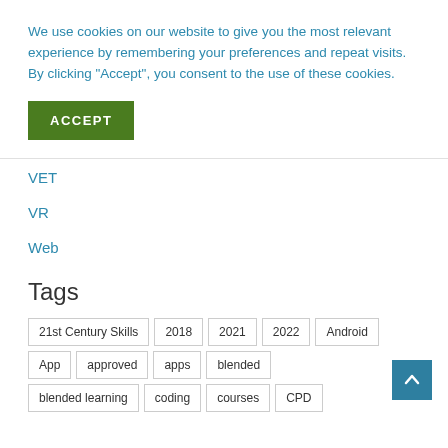We use cookies on our website to give you the most relevant experience by remembering your preferences and repeat visits. By clicking “Accept”, you consent to the use of these cookies.
[Figure (other): Green ACCEPT button]
VET
VR
Web
Tags
21st Century Skills
2018
2021
2022
Android
App
approved
apps
blended
blended learning
coding
courses
CPD